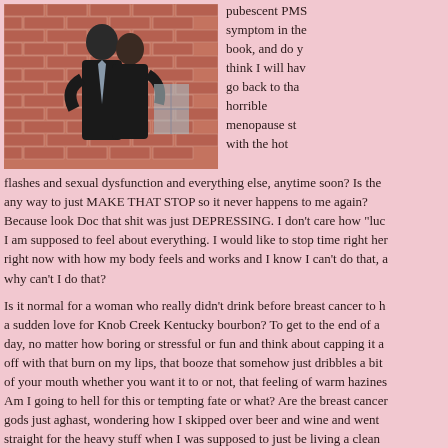[Figure (photo): Two people embracing in front of a brick wall, dressed formally]
pubescent PMS symptom in the book, and do you think I will have go back to that horrible menopause stuff with the hot flashes and sexual dysfunction and everything else, anytime soon? Is there any way to just MAKE THAT STOP so it never happens to me again? Because look Doc that shit was just DEPRESSING. I don't care how "luc I am supposed to feel about everything. I would like to stop time right her right now with how my body feels and works and I know I can't do that, a why can't I do that?
Is it normal for a woman who really didn't drink before breast cancer to h a sudden love for Knob Creek Kentucky bourbon? To get to the end of a day, no matter how boring or stressful or fun and think about capping it a off with that burn on my lips, that booze that somehow just dribbles a bit of your mouth whether you want it to or not, that feeling of warm hazines Am I going to hell for this or tempting fate or what? Are the breast cancer gods just aghast, wondering how I skipped over beer and wine and went straight for the heavy stuff when I was supposed to just be living a clean and perfect life, like the one I basically lived before that didn't help me ar with this cancer shit?
Is two and a half years enough? When will we ever know how this is real going to turn out? When can I tell my family to stop worrying? When can stop writing a blog about cancer?
What about PARP inhibitors? What about the fact that yeah I had br...